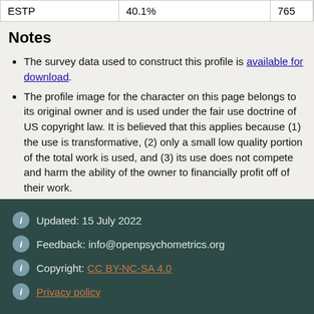| ESTP | 40.1% | 765 |
Notes
The survey data used to construct this profile is available for download.
The profile image for the character on this page belongs to its original owner and is used under the fair use doctrine of US copyright law. It is believed that this applies because (1) the use is transformative, (2) only a small low quality portion of the total work is used, and (3) its use does not compete and harm the ability of the owner to financially profit off of their work.
Updated: 15 July 2022 | Feedback: info@openpsychometrics.org | Copyright: CC BY-NC-SA 4.0 | Privacy policy